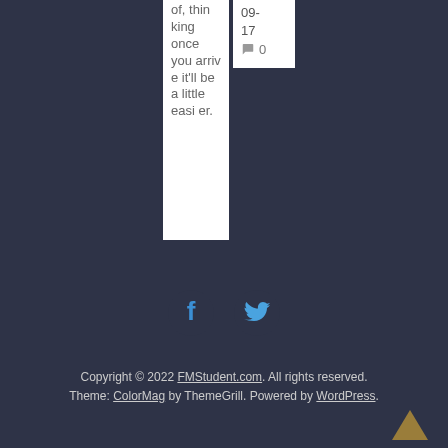of, thinking once you arrive it'll be a little easier.
09-17 💬 0
[Figure (illustration): Facebook and Twitter social media icons in blue color]
Copyright © 2022 FMStudent.com. All rights reserved. Theme: ColorMag by ThemeGrill. Powered by WordPress.